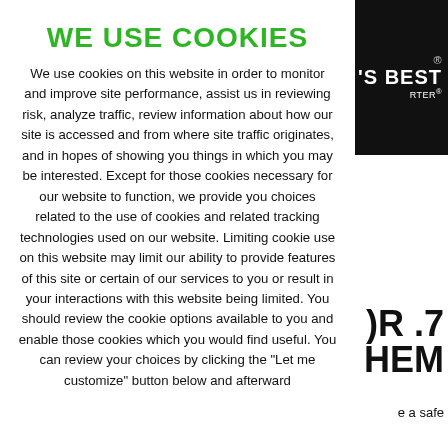WE USE COOKIES
We use cookies on this website in order to monitor and improve site performance, assist us in reviewing risk, analyze traffic, review information about how our site is accessed and from where site traffic originates, and in hopes of showing you things in which you may be interested. Except for those cookies necessary for our website to function, we provide you choices related to the use of cookies and related tracking technologies used on our website. Limiting cookie use on this website may limit our ability to provide features of this site or certain of our services to you or result in your interactions with this website being limited. You should review the cookie options available to you and enable those cookies which you would find useful. You can review your choices by clicking the "Let me customize" button below and afterward